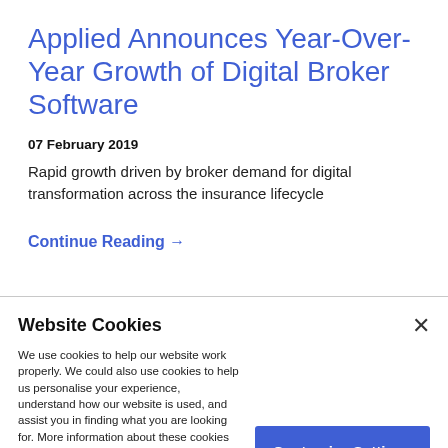Applied Announces Year-Over-Year Growth of Digital Broker Software
07 February 2019
Rapid growth driven by broker demand for digital transformation across the insurance lifecycle
Continue Reading →
Website Cookies
We use cookies to help our website work properly. We could also use cookies to help us personalise your experience, understand how our website is used, and assist you in finding what you are looking for. More information about these cookies can be found within the Cookie Settings and within our Cookies Policy.